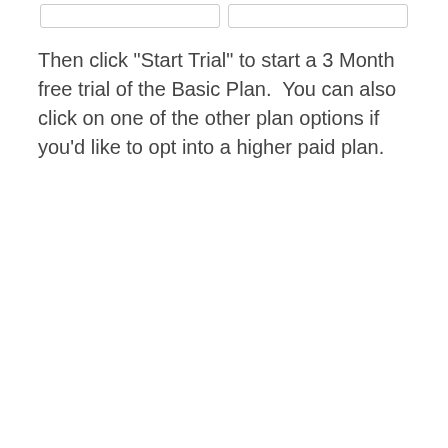[Figure (screenshot): Two input/form fields at the top of the page partially visible]
Then click "Start Trial" to start a 3 Month free trial of the Basic Plan.  You can also click on one of the other plan options if you'd like to opt into a higher paid plan.
[Figure (screenshot): Basic plan card with light blue background showing title 'Basic', description text, a green 'Start Trial' button with red border highlight, and 'FREE for 3 Months' text]